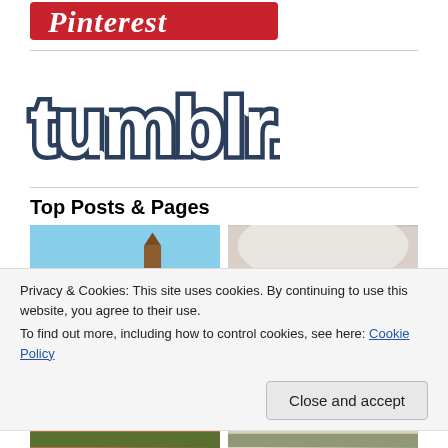[Figure (logo): Pinterest logo — white cursive text on red background]
[Figure (logo): Tumblr logo — dark blue outlined bubble-letter text 'tumblr.' on white background]
Top Posts & Pages
[Figure (photo): Photo of a tower/building with blue sky]
[Figure (photo): Photo showing a close-up of dough or similar white surface]
Privacy & Cookies: This site uses cookies. By continuing to use this website, you agree to their use.
To find out more, including how to control cookies, see here: Cookie Policy
[Figure (photo): Bottom left photo - colorful outdoor scene]
[Figure (photo): Bottom right photo - outdoor landscape]